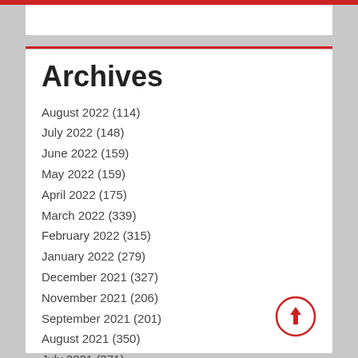Archives
August 2022 (114)
July 2022 (148)
June 2022 (159)
May 2022 (159)
April 2022 (175)
March 2022 (339)
February 2022 (315)
January 2022 (279)
December 2021 (327)
November 2021 (206)
September 2021 (201)
August 2021 (350)
July 2021 (371)
June 2021 (391)